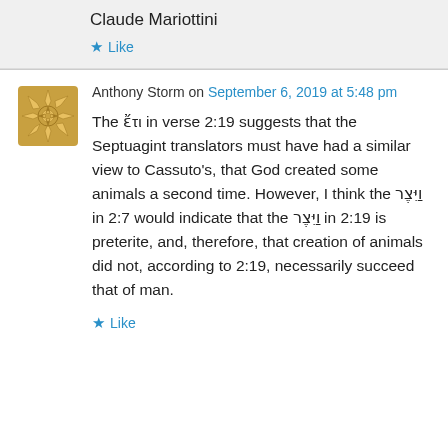Claude Mariottini
Like
Anthony Storm on September 6, 2019 at 5:48 pm
The ἔτι in verse 2:19 suggests that the Septuagint translators must have had a similar view to Cassuto's, that God created some animals a second time. However, I think the וַיִּצֶר in 2:7 would indicate that the וַיִּצֶר in 2:19 is preterite, and, therefore, that creation of animals did not, according to 2:19, necessarily succeed that of man.
Like